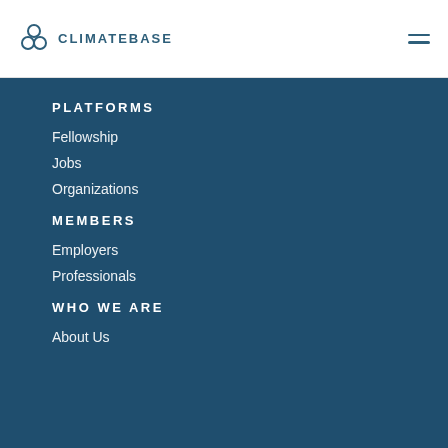CLIMATEBASE
PLATFORMS
Fellowship
Jobs
Organizations
MEMBERS
Employers
Professionals
WHO WE ARE
About Us